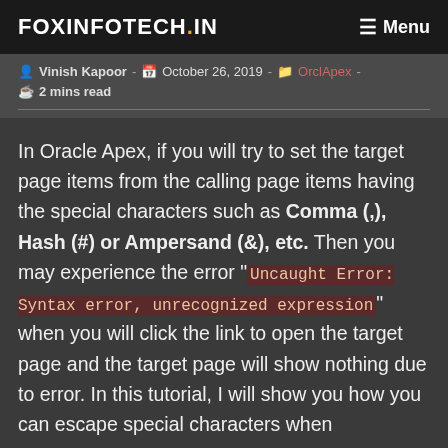FOXINFOTECH.IN   Menu
Vinish Kapoor - October 26, 2019 - OrclApex - 2 mins read
In Oracle Apex, if you will try to set the target page items from the calling page items having the special characters such as Comma (,), Hash (#) or Ampersand (&), etc. Then you may experience the error "Uncaught Error: Syntax error, unrecognized expression" when you will click the link to open the target page and the target page will show nothing due to error. In this tutorial, I will show you how you can escape special characters when